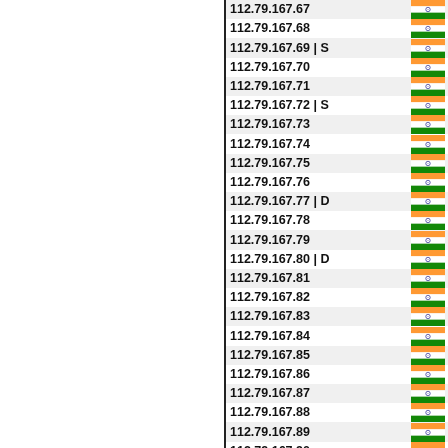| IP Address | Country |
| --- | --- |
| 112.79.167.67 | IN |
| 112.79.167.68 | IN |
| 112.79.167.69 | S | IN |
| 112.79.167.70 | IN |
| 112.79.167.71 | IN |
| 112.79.167.72 | S | IN |
| 112.79.167.73 | IN |
| 112.79.167.74 | IN |
| 112.79.167.75 | IN |
| 112.79.167.76 | IN |
| 112.79.167.77 | D | IN |
| 112.79.167.78 | IN |
| 112.79.167.79 | IN |
| 112.79.167.80 | D | IN |
| 112.79.167.81 | IN |
| 112.79.167.82 | IN |
| 112.79.167.83 | IN |
| 112.79.167.84 | IN |
| 112.79.167.85 | IN |
| 112.79.167.86 | IN |
| 112.79.167.87 | IN |
| 112.79.167.88 | IN |
| 112.79.167.89 | IN |
| 112.79.167.90 | IN |